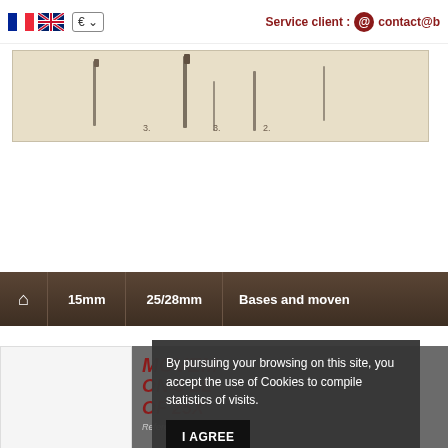Service client : contact@
[Figure (photo): Horizontal banner image showing watchmaking tools/pins on a cream/beige background]
[Figure (screenshot): Navigation bar with dark brown background showing: home icon, 15mm, 25/28mm, Bases and movements menu items]
By pursuing your browsing on this site, you accept the use of Cookies to compile statistics of visits.
I AGREE
MOVEMENTS ON 3 ELEMENTS OF 25X... Reference : pr...